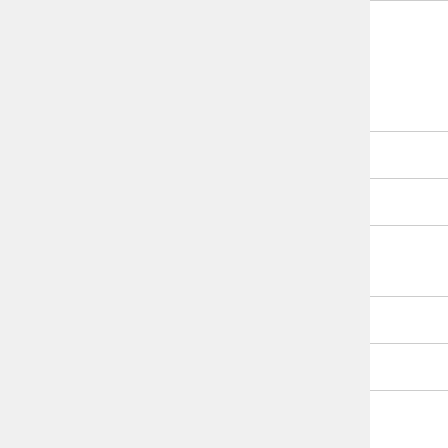| Domain | Date |
| --- | --- |
| www.flq.us | 2018-12-30 |
| flyt.it | 2019-04-03 |
| fnd.us | 2016-09-17 |
| fork.cc | 2018-12-27 |
| fuck.it | 2019-05-25 |
| fur.ly | 2016-07-13 |
| gdurl.com | 2016-05-28 |
| hii.fyi | 2019-04-05 |
|  |  |